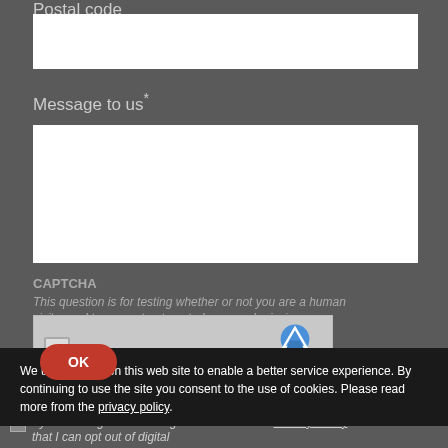Postal code
[Figure (screenshot): White input box for postal code field]
Message to us*
[Figure (screenshot): White textarea for message to us field]
CAPTCHA
This question is for testing whether or not you are a human visitor and to prevent automated spam submissions.
[Figure (screenshot): reCAPTCHA widget box with logo, Privacy and Terms links]
We use cookies on this web site to enable a better service experience. By continuing to use the site you consent to the use of cookies. Please read more from the privacy policy.
[Figure (screenshot): Red OK button for cookie consent]
By submitting this form I agree with Treston's Privacy Policy. I understand that I can opt out of digital